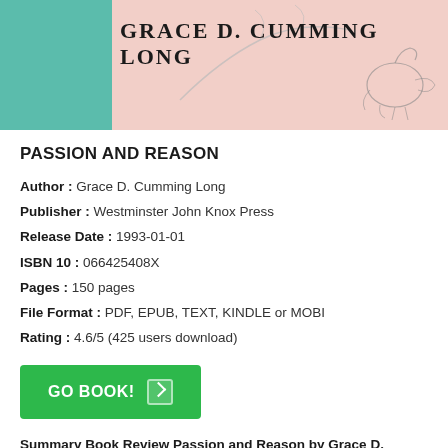[Figure (illustration): Book cover image with teal left panel and pink/salmon right background. Author name 'GRACE D. CUMMING LONG' in bold uppercase serif text. Decorative floral/branch sketch elements in the background.]
PASSION AND REASON
Author : Grace D. Cumming Long
Publisher : Westminster John Knox Press
Release Date : 1993-01-01
ISBN 10 : 066425408X
Pages : 150 pages
File Format : PDF, EPUB, TEXT, KINDLE or MOBI
Rating : 4.6/5 (425 users download)
GO BOOK!
Summary Book Review Passion and Reason by Grace D. Cumming Long: